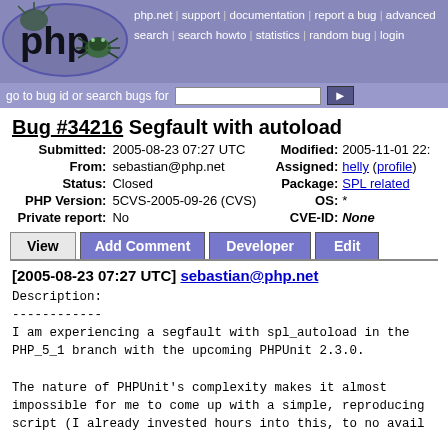php.net | support | documentation | report a bug | advanced search | search howto | statistics | random bug | login
go to bug id or search bugs for [input]
Bug #34216 Segfault with autoload
| Field | Value | Field | Value |
| --- | --- | --- | --- |
| Submitted: | 2005-08-23 07:27 UTC | Modified: | 2005-11-01 22:... |
| From: | sebastian@php.net | Assigned: | helly (profile) |
| Status: | Closed | Package: | SPL related |
| PHP Version: | 5CVS-2005-09-26 (CVS) | OS: | * |
| Private report: | No | CVE-ID: | None |
View | Add Comment | Developer | Edit
[2005-08-23 07:27 UTC] sebastian@php.net
Description:
------------
I am experiencing a segfault with spl_autoload in the PHP_5_1 branch with the upcoming PHPUnit 2.3.0.

The nature of PHPUnit's complexity makes it almost impossible for me to come up with a simple, reproducing script (I already invested hours into this, to no avail